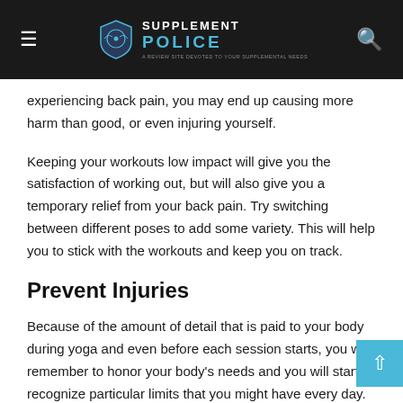Supplement Police
experiencing back pain, you may end up causing more harm than good, or even injuring yourself.
Keeping your workouts low impact will give you the satisfaction of working out, but will also give you a temporary relief from your back pain. Try switching between different poses to add some variety. This will help you to stick with the workouts and keep you on track.
Prevent Injuries
Because of the amount of detail that is paid to your body during yoga and even before each session starts, you will remember to honor your body's needs and you will start to recognize particular limits that you might have every day.